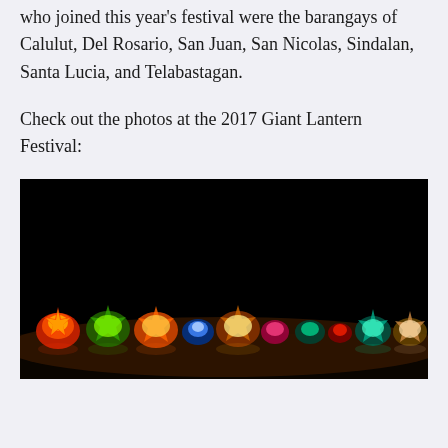who joined this year's festival were the barangays of Calulut, Del Rosario, San Juan, San Nicolas, Sindalan, Santa Lucia, and Telabastagan.
Check out the photos at the 2017 Giant Lantern Festival:
[Figure (photo): Night photo of the 2017 Giant Lantern Festival showing multiple illuminated giant lanterns (parols) glowing in red, orange, green, blue, and multicolored patterns against a completely dark black sky. The lanterns are lined up along the horizon.]